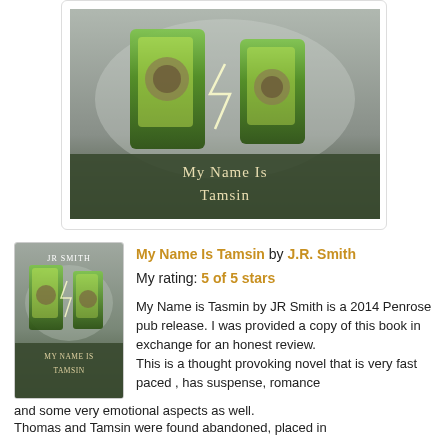[Figure (illustration): Book cover of 'My Name Is Tamsin' by JR Smith showing two green glowing cylindrical vessels/jars on a misty dark background with lightning. Title text at bottom reads 'My Name Is Tamsin'.]
[Figure (illustration): Small book cover thumbnail of 'My Name Is Tamsin' by JR Smith.]
My Name Is Tamsin by J.R. Smith
My rating: 5 of 5 stars
My Name is Tasmin by JR Smith is a 2014 Penrose pub release. I was provided a copy of this book in exchange for an honest review.
This is a thought provoking novel that is very fast paced , has suspense, romance and some very emotional aspects as well.
Thomas and Tamsin were found abandoned, placed in